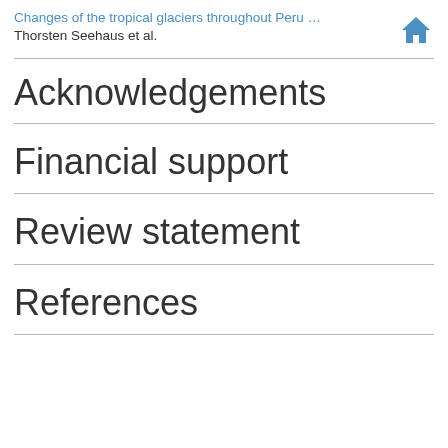Changes of the tropical glaciers throughout Peru ... Thorsten Seehaus et al.
Acknowledgements
Financial support
Review statement
References